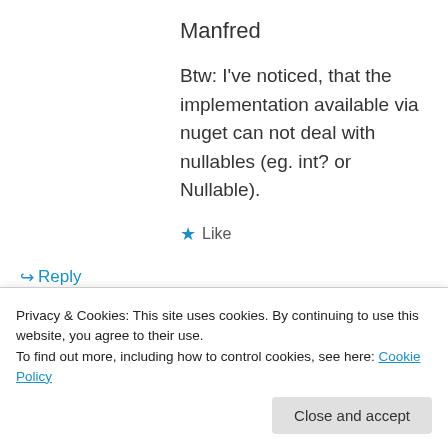Manfred
Btw: I've noticed, that the implementation available via nuget can not deal with nullables (eg. int? or Nullable).
★ Like
↳ Reply
moozzyk on July 21, 2014 at 9:27 pm
Privacy & Cookies: This site uses cookies. By continuing to use this website, you agree to their use.
To find out more, including how to control cookies, see here: Cookie Policy
Close and accept
first version. After this, depending on the